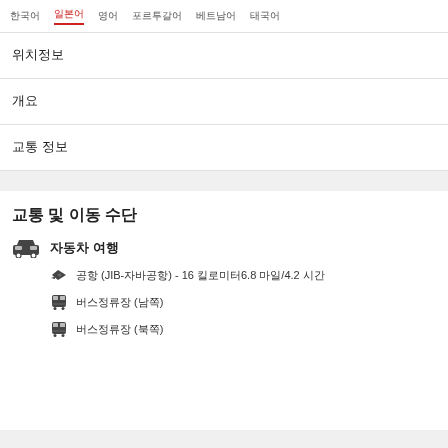한국어  일본어  영어  포르투갈어  베트남어  태국어
위치정보
개요
교통 정보
교통 및 이동 수단
자동차 여행
공항 (JIB-자바공항) - 16 킬로미터6.8 마일/4.2 시간
버스정류장 (남쪽)
버스정류장 (북쪽)